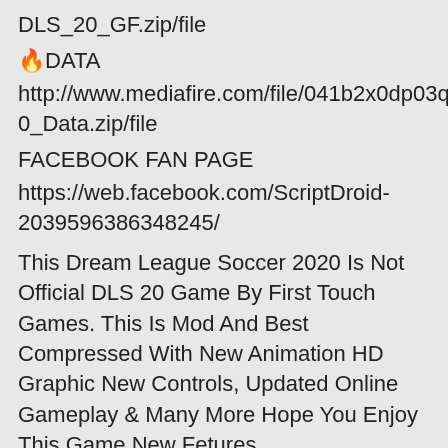DLS_20_GF.zip/file
🔥DATA
http://www.mediafire.com/file/041b2x0dp03ql5b/DLS_20_Data.zip/file
FACEBOOK FAN PAGE
https://web.facebook.com/ScriptDroid-2039596386348245/
This Dream League Soccer 2020 Is Not Official DLS 20 Game By First Touch Games. This Is Mod And Best Compressed With New Animation HD Graphic New Controls, Updated Online Gameplay & Many More Hope You Enjoy This Game New Fetures.
👉👈Also check out these links 👇👇
————————👇👇👇👇👇👇👇————————-
my blog https://scriptdroid.blogspot.com and these links👇👇